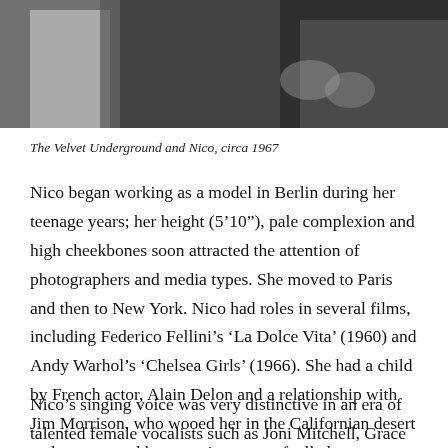[Figure (photo): Black and white photograph of The Velvet Underground and Nico, circa 1967. Multiple people visible in close group portrait.]
The Velvet Underground and Nico, circa 1967
Nico began working as a model in Berlin during her teenage years; her height (5'10"), pale complexion and high cheekbones soon attracted the attention of photographers and media types. She moved to Paris and then to New York. Nico had roles in several films, including Federico Fellini's 'La Dolce Vita' (1960) and Andy Warhol's 'Chelsea Girls' (1966). She had a child by French actor, Alain Delon and a relationship with Jim Morrison, who wooed her in the Californian desert and encouraged her to write peyote-fuelled poetry.
Nico's singing voice was very distinctive in an era of talented female vocalists such as Joni Mitchell, Grace Slick etc., in the